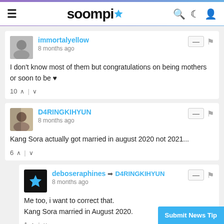soompi
immortalyellow
8 months ago
I don't know most of them but congratulations on being mothers or soon to be ♥
10
D4RINGKIHYUN
8 months ago
Kang Sora actually got married in august 2020 not 2021...
6
deboseraphines → D4RINGKIHYUN
8 months ago
Me too, i want to correct that.
Kang Sora married in August 2020.
1